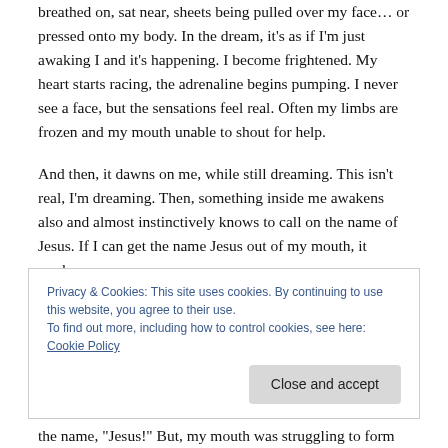breathed on, sat near, sheets being pulled over my face… or pressed onto my body.  In the dream, it's as if I'm just awaking I and it's happening. I become frightened. My heart starts racing, the adrenaline begins pumping. I never see a face, but the sensations feel real. Often my limbs are frozen and my mouth unable to shout for help.
And then, it dawns on me, while still dreaming. This isn't real, I'm dreaming. Then, something inside me awakens also and almost instinctively knows to call on the name of Jesus. If I can get the name Jesus out of my mouth, it works.
Privacy & Cookies: This site uses cookies. By continuing to use this website, you agree to their use.
To find out more, including how to control cookies, see here: Cookie Policy
the name, "Jesus!" But, my mouth was struggling to form